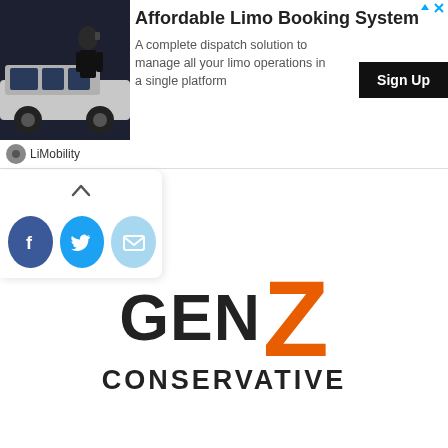[Figure (screenshot): Advertisement banner for LiMobility Affordable Limo Booking System. Shows a photo of a man in a suit standing next to a limousine on the left, with text 'Affordable Limo Booking System' and 'A complete dispatch solution to manage all your limo operations in a single platform', a black 'Sign Up' button, and 'LiMobility' brand name at the bottom left. Ad controls (arrow and X) in top right.]
[Figure (screenshot): Social sharing widget showing an upward chevron/arrow button and three circular social media share icons: Facebook (dark blue with f), Twitter (blue with bird), and Email (light blue with envelope).]
[Figure (logo): Gen Z Conservative logo. Text reads 'GEN' in large dark grey bold uppercase letters, followed by a large orange bold 'Z', then 'CONSERVATIVE' in dark grey bold uppercase letters below.]